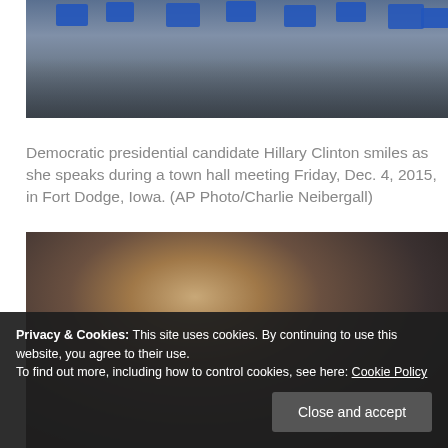[Figure (photo): Crowd at a Hillary Clinton campaign event holding blue Iowa campaign signs. Hillary Clinton is visible in the center of the crowd.]
Democratic presidential candidate Hillary Clinton smiles as she speaks during a town hall meeting Friday, Dec. 4, 2015, in Fort Dodge, Iowa. (AP Photo/Charlie Neibergall)
[Figure (photo): Close-up photo of Hillary Clinton seen from behind/side, showing her blonde hair and glasses, at a campaign event.]
Privacy & Cookies: This site uses cookies. By continuing to use this website, you agree to their use. To find out more, including how to control cookies, see here: Cookie Policy